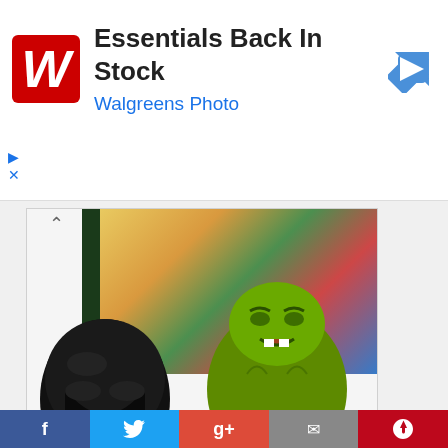[Figure (screenshot): Walgreens advertisement banner showing logo, 'Essentials Back In Stock' headline, 'Walgreens Photo' subtext, and a blue navigation arrow icon]
[Figure (photo): Product photo showing a Darth Vader helmet replica and a green Hulk bust figurine with signature, in front of Marvel comic book panels]
Privacy
[Figure (screenshot): Bottom social sharing bar with Facebook, Twitter, Google+, email, and Pinterest icons]